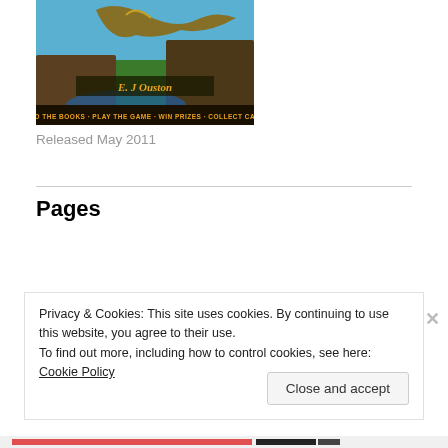[Figure (illustration): Book cover image showing fantasy creatures with text 'E. J. Ouston' and 'READ THE BOOKS - PLAY THE GAME - WIN PRIZES - COLLECT CARDS']
Released May 2011
Pages
About
Did you learn about megafauna as a kid?
Privacy & Cookies: This site uses cookies. By continuing to use this website, you agree to their use.
To find out more, including how to control cookies, see here: Cookie Policy
Close and accept